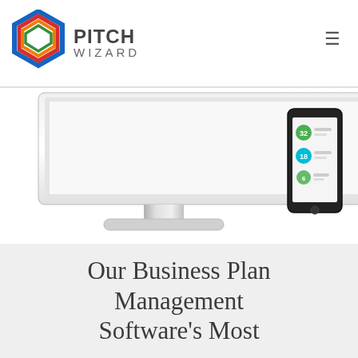Pitch Wizard — navigation header with logo and hamburger menu
[Figure (illustration): iMac desktop computer with a smartphone beside it showing the Pitch Wizard app interface with colored score indicators]
Our Business Plan Management Software's Most